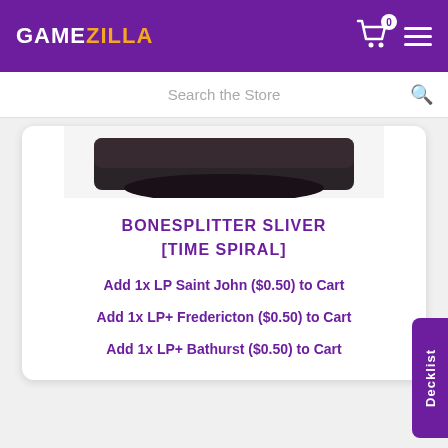GAMEZILLA
Search the Store
[Figure (screenshot): Top portion of a Magic: The Gathering card (Bonesplitter Sliver) showing dark card art]
BONESPLITTER SLIVER [TIME SPIRAL]
Add 1x LP Saint John ($0.50) to Cart
Add 1x LP+ Fredericton ($0.50) to Cart
Add 1x LP+ Bathurst ($0.50) to Cart
[Figure (screenshot): Top portion of a Magic: The Gathering card (Brass Gnat) showing artifact card art with insect creature]
Decklist